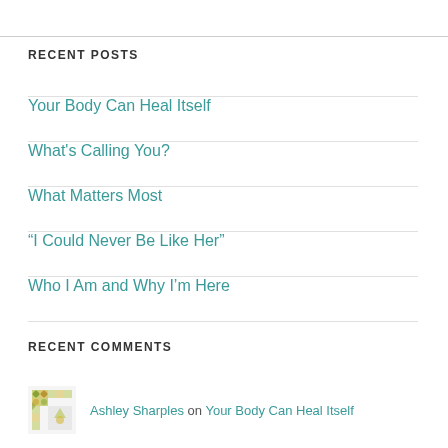RECENT POSTS
Your Body Can Heal Itself
What's Calling You?
What Matters Most
“I Could Never Be Like Her”
Who I Am and Why I’m Here
RECENT COMMENTS
Ashley Sharples on Your Body Can Heal Itself